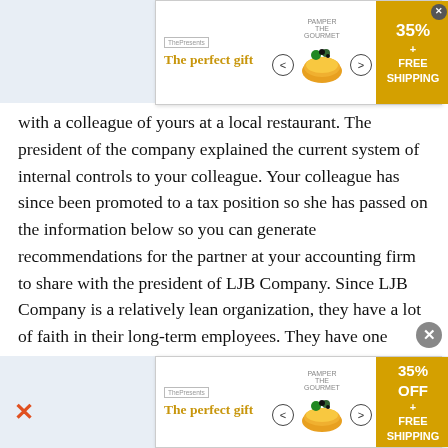[Figure (other): Advertisement banner for 'The perfect gift' with bowl image, navigation arrows, and 35% OFF + FREE SHIPPING badge]
with a colleague of yours at a local restaurant. The president of the company explained the current system of internal controls to your colleague. Your colleague has since been promoted to a tax position so she has passed on the information below so you can generate recommendations for the partner at your accounting firm to share with the president of LJB Company. Since LJB Company is a relatively lean organization, they have a lot of faith in their long-term employees. They have one accountant who serves as treasurer and controller, which streamlines many of their processes. In this dual role, he purchases all of the supplies and pays for these purchases. He also receives the checks and completes the monthly bank reconciliation. The
[Figure (other): Advertisement banner at bottom for 'The perfect gift' with bowl image, navigation arrows, and 35% OFF + FREE SHIPPING badge]